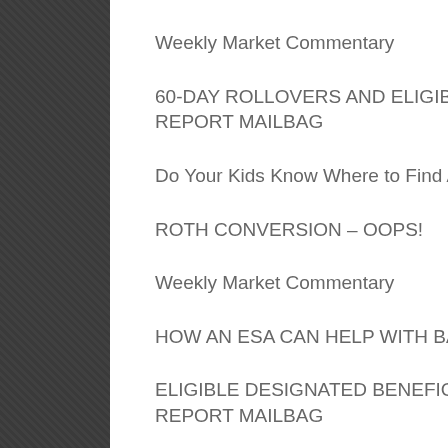Weekly Market Commentary
60-DAY ROLLOVERS AND ELIGIBLE DESIGNATED BENEFICIARIES: TODAY'S SLOTT REPORT MAILBAG
Do Your Kids Know Where to Find All Your Money if Tragedy Strikes?
ROTH CONVERSION – OOPS!
Weekly Market Commentary
HOW AN ESA CAN HELP WITH BACK-TO-SCHOOL EXPENSES
ELIGIBLE DESIGNATED BENEFICIARIES AND RMD AGGREGATION: TODAY'S SLOTT REPORT MAILBAG
Happy Retirees Have These 7 Habits in Common